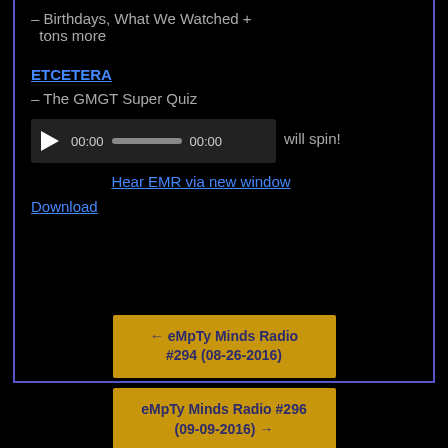– Birthdays, What We Watched + tons more
ETCETERA
– The GMGT Super Quiz
[Figure (other): Audio player widget with play button, 00:00 time display, progress bar, and 00:00 end time. Text 'will spin!' appears to the right.]
Hear EMR via new window
Download
← eMpTy Minds Radio #294 (08-26-2016)
eMpTy Minds Radio #296 (09-09-2016) →